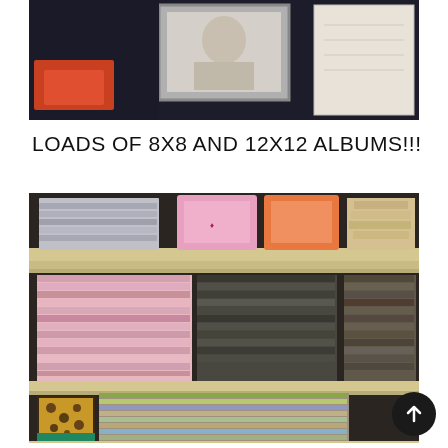[Figure (photo): Partial view of a dark shelf or display area with a framed photo/artwork in the center and what appears to be papers or documents on the right side.]
LOADS OF 8X8 AND 12X12 ALBUMS!!!
[Figure (photo): Shelving unit stacked with numerous scrapbooking albums of various sizes (8x8 and 12x12), patterned covers in pinks, blacks, and other colors, arranged on multiple shelves.]